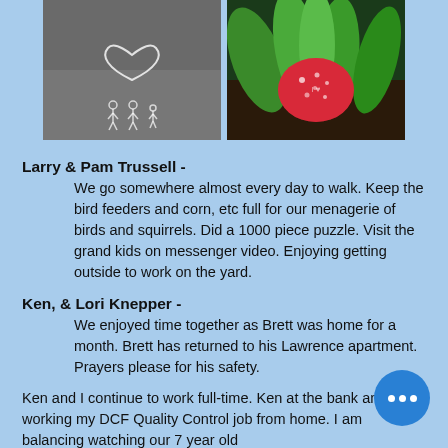[Figure (photo): Two photos side by side: left photo shows chalk drawing of a heart on pavement with stick figures; right photo shows a red/pink decorative rock among green plants.]
Larry & Pam Trussell -
We go somewhere almost every day to walk. Keep the bird feeders and corn, etc full for our menagerie of birds and squirrels. Did a 1000 piece puzzle. Visit the grand kids on messenger video. Enjoying getting outside to work on the yard.
Ken, & Lori Knepper -
We enjoyed time together as Brett was home for a month.  Brett has returned to his Lawrence apartment.  Prayers please for his safety.
Ken and I continue to work full-time. Ken at the bank and I am working my DCF Quality Control job from home.  I am balancing watching our 7 year old